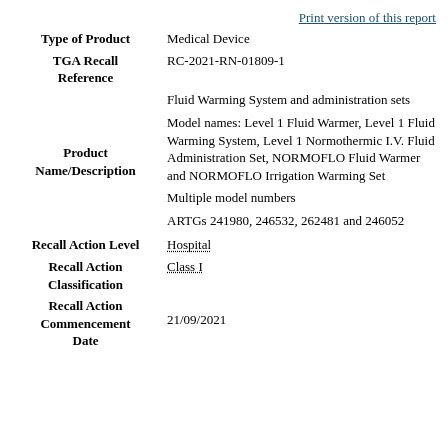Print version of this report
| Field | Value |
| --- | --- |
| Type of Product | Medical Device |
| TGA Recall Reference | RC-2021-RN-01809-1 |
| Product Name/Description | Fluid Warming System and administration sets

Model names: Level 1 Fluid Warmer, Level 1 Fluid Warming System, Level 1 Normothermic I.V. Fluid Administration Set, NORMOFLO Fluid Warmer and NORMOFLO Irrigation Warming Set

Multiple model numbers

ARTGs 241980, 246532, 262481 and 246052 |
| Recall Action Level | Hospital |
| Recall Action Classification | Class I |
| Recall Action Commencement Date | 21/09/2021 |